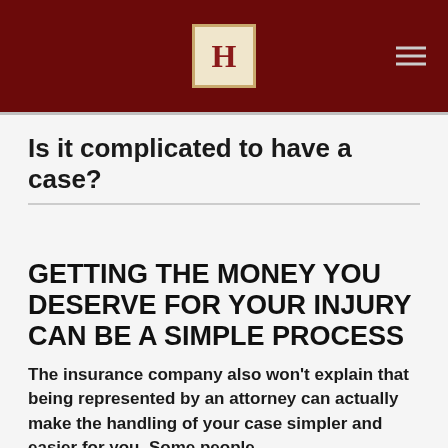H
Is it complicated to have a case?
GETTING THE MONEY YOU DESERVE FOR YOUR INJURY CAN BE A SIMPLE PROCESS
The insurance company also won't explain that being represented by an attorney can actually make the handling of your case simpler and easier for you. Some people